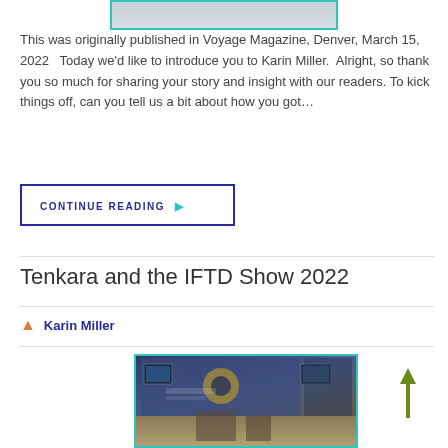[Figure (photo): Partial photo of a person cropped at top of page, with teal border]
This was originally published in Voyage Magazine, Denver, March 15, 2022   Today we'd like to introduce you to Karin Miller.  Alright, so thank you so much for sharing your story and insight with our readers. To kick things off, can you tell us a bit about how you got…
CONTINUE READING ▶
Tenkara and the IFTD Show 2022
Karin Miller
[Figure (photo): Photo of a trade show booth with colorful backdrop featuring a yin-yang style logo, display screens, and product displays on the floor]